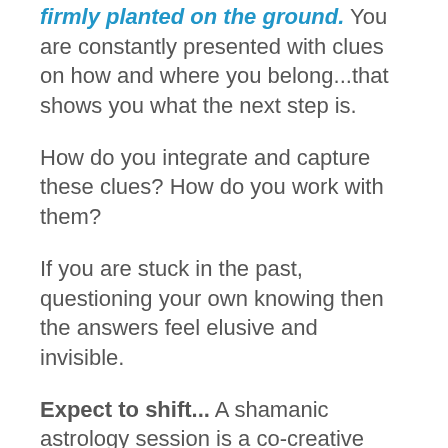firmly planted on the ground. You are constantly presented with clues on how and where you belong...that shows you what the next step is.
How do you integrate and capture these clues? How do you work with them?
If you are stuck in the past, questioning your own knowing then the answers feel elusive and invisible.
Expect to shift... A shamanic astrology session is a co-creative sacred process between you and the compassionate beings of Light I work with. If you want to sit quietly listening...then please consult with another astrologer.
Our session is a dialog using your birth chart